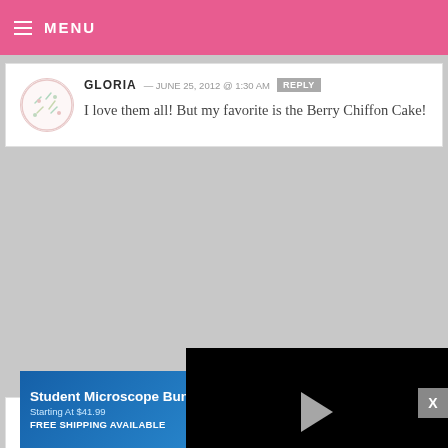MENU
GLORIA — JUNE 25, 2012 @ 1:30 AM  REPLY
I love them all! But my favorite is the Berry Chiffon Cake!
SOFHAN
Sigh.All s... Plum Tar...
[Figure (screenshot): Video player overlay showing paused video with play button, progress bar at ~70%, time 13:52, and controls (mute, CC, grid, settings, fullscreen)]
[Figure (photo): Advertisement banner for Student Microscope Bundles, Starting At $41.99, FREE SHIPPING AVAILABLE, with microscope image and play button]